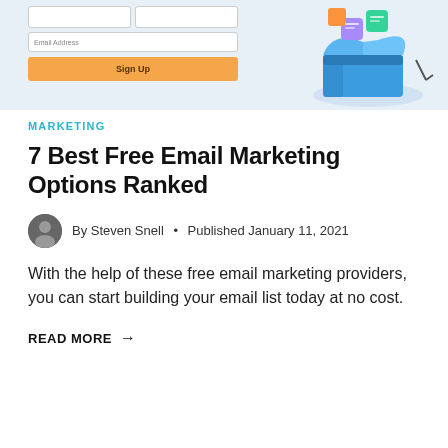[Figure (screenshot): Partial view of a web sign-up form with first name/last name fields, email address field, and an orange Sign Up button, alongside a 3D illustration of marketing tools emerging from an open box, on a light blue background]
MARKETING
7 Best Free Email Marketing Options Ranked
By Steven Snell • Published January 11, 2021
With the help of these free email marketing providers, you can start building your email list today at no cost.
READ MORE →